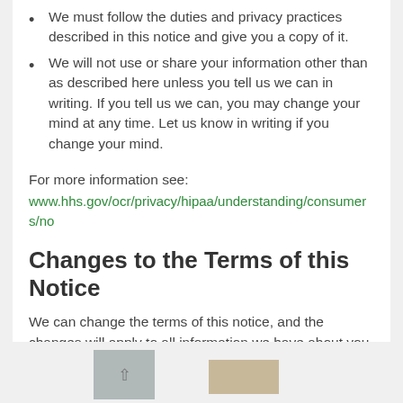We must follow the duties and privacy practices described in this notice and give you a copy of it.
We will not use or share your information other than as described here unless you tell us we can in writing. If you tell us we can, you may change your mind at any time. Let us know in writing if you change your mind.
For more information see:
www.hhs.gov/ocr/privacy/hipaa/understanding/consumers/no
Changes to the Terms of this Notice
We can change the terms of this notice, and the changes will apply to all information we have about you. The new notice will be available upon request, in our office, and on our web site.
[Figure (other): Partial image at the bottom of the page showing a grey box with an arrow icon and a partial image of documents/books in the lower right corner]